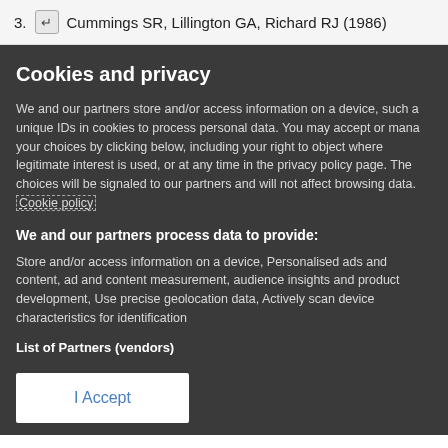3. ↵ Cummings SR, Lillington GA, Richard RJ (1986)
Cookies and privacy
We and our partners store and/or access information on a device, such a unique IDs in cookies to process personal data. You may accept or manage your choices by clicking below, including your right to object where legitimate interest is used, or at any time in the privacy policy page. These choices will be signaled to our partners and will not affect browsing data. Cookie policy
We and our partners process data to provide:
Store and/or access information on a device, Personalised ads and content, ad and content measurement, audience insights and product development, Use precise geolocation data, Actively scan device characteristics for identification
List of Partners (vendors)
I Accept